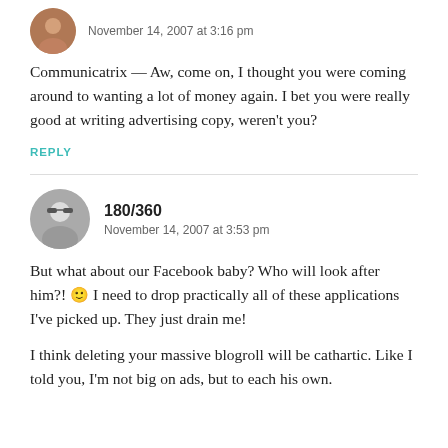November 14, 2007 at 3:16 pm
Communicatrix — Aw, come on, I thought you were coming around to wanting a lot of money again. I bet you were really good at writing advertising copy, weren't you?
REPLY
180/360
November 14, 2007 at 3:53 pm
But what about our Facebook baby? Who will look after him?! 🙂 I need to drop practically all of these applications I've picked up. They just drain me!
I think deleting your massive blogroll will be cathartic. Like I told you, I'm not big on ads, but to each his own.